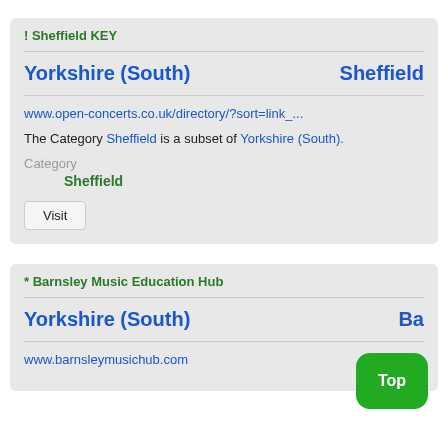! Sheffield KEY
Yorkshire (South)   Sheffield
www.open-concerts.co.uk/directory/?sort=link_...
The Category Sheffield is a subset of Yorkshire (South).
Category
    Sheffield
Visit
* Barnsley Music Education Hub
Yorkshire (South)   Barnsley
www.barnsleymusichub.com